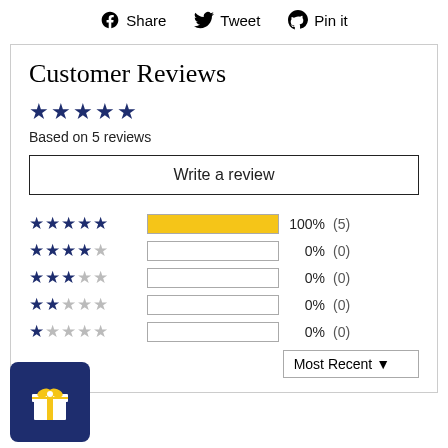Share   Tweet   Pin it
Customer Reviews
Based on 5 reviews
Write a review
[Figure (bar-chart): Star rating distribution]
Most Recent ▼